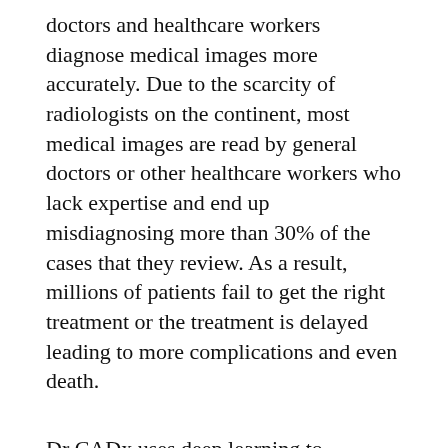doctors and healthcare workers diagnose medical images more accurately. Due to the scarcity of radiologists on the continent, most medical images are read by general doctors or other healthcare workers who lack expertise and end up misdiagnosing more than 30% of the cases that they review. As a result, millions of patients fail to get the right treatment or the treatment is delayed leading to more complications and even death.
Dr CADx uses deep learning to interpret medical images and achieve an accuracy of 82%, an improvement over the 70% average for radiologists. Dr CADx is designed to work in low resource settings with poor internet connectivity opening it up for use in many rural settings in Africa.